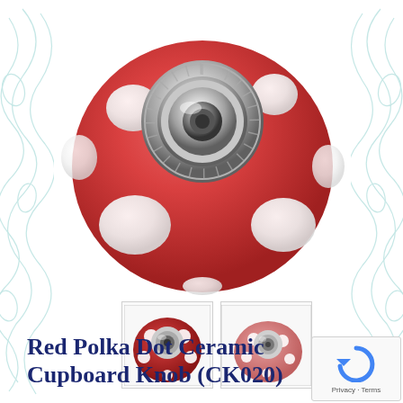[Figure (photo): Close-up photo of a red ceramic cupboard knob with white polka dots and a silver metal fitting in the center, photographed against a white background with decorative teal/aqua swirl patterns on the sides]
[Figure (photo): Thumbnail image 1: Small front-view photo of the same red polka dot ceramic knob showing the silver metal bolt and white dots]
[Figure (photo): Thumbnail image 2: Small side-angle photo of a lighter pink polka dot ceramic knob with white dots and silver fitting]
Red Polka Dot Ceramic Cupboard Knob (CK020)